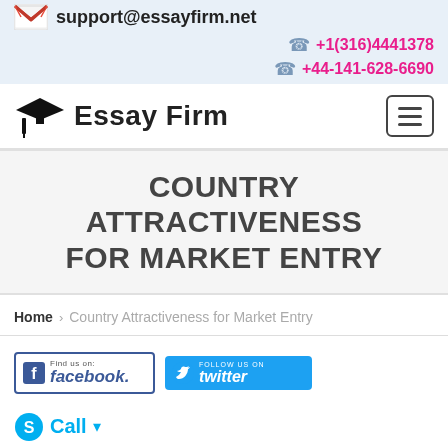support@essayfirm.net | +1(316)4441378 | +44-141-628-6690
[Figure (logo): Essay Firm logo with graduation cap icon and hamburger menu button]
COUNTRY ATTRACTIVENESS FOR MARKET ENTRY
Home > Country Attractiveness for Market Entry
[Figure (infographic): Facebook and Twitter social media buttons]
Call